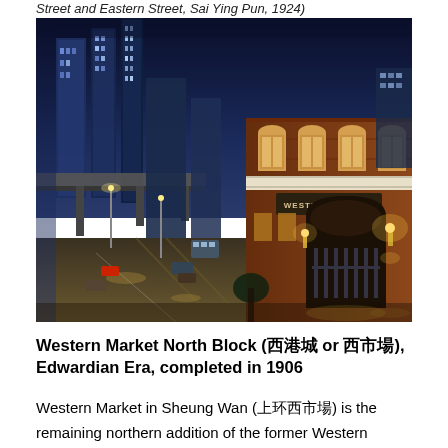Street and Eastern Street, Sai Ying Pun, 1924)
[Figure (photo): Nighttime photograph of Western Market North Block in Sheung Wan, Hong Kong. The historic red-brick Edwardian building is illuminated in warm golden light on the right side, with 'Western Market' signage visible. The left side shows a wide urban street with tram tracks, streetlights, and modern glass skyscrapers in the background under a deep blue night sky.]
Western Market North Block (西港城 or 西市場), Edwardian Era, completed in 1906
Western Market in Sheung Wan (上環西市場) is the remaining northern addition of the former Western Market South Block. The former main market building was demolished in